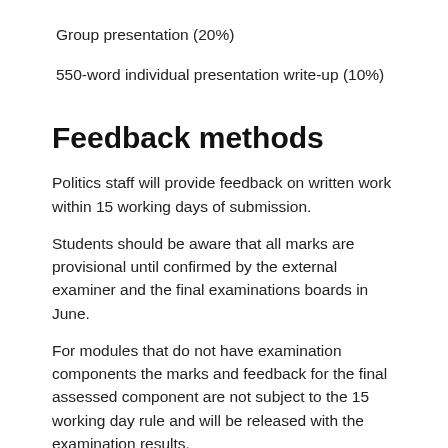Group presentation (20%)
550-word individual presentation write-up (10%)
Feedback methods
Politics staff will provide feedback on written work within 15 working days of submission.
Students should be aware that all marks are provisional until confirmed by the external examiner and the final examinations boards in June.
For modules that do not have examination components the marks and feedback for the final assessed component are not subject to the 15 working day rule and will be released with the examination results.